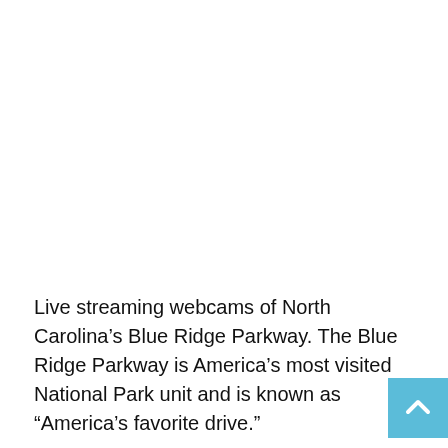Live streaming webcams of North Carolina's Blue Ridge Parkway. The Blue Ridge Parkway is America's most visited National Park unit and is known as “America’s favorite drive.”